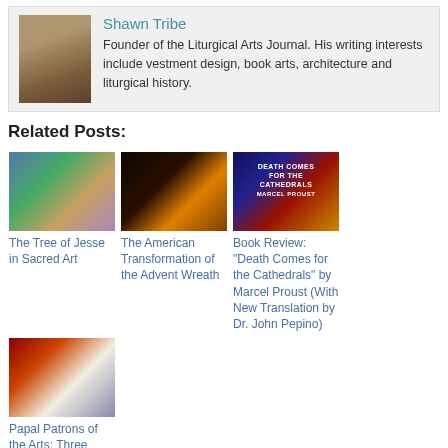[Figure (photo): Author photo: man with glasses]
Shawn Tribe
Founder of the Liturgical Arts Journal. His writing interests include vestment design, book arts, architecture and liturgical history.
Related Posts:
[Figure (photo): The Tree of Jesse in Sacred Art - illuminated manuscript]
The Tree of Jesse in Sacred Art
[Figure (photo): The American Transformation of the Advent Wreath - candles]
The American Transformation of the Advent Wreath
[Figure (photo): Book cover: Death Comes for the Cathedrals by Marcel Proust]
Book Review: "Death Comes for the Cathedrals" by Marcel Proust (With New Translation by Dr. John Pepino)
[Figure (photo): Papal Patrons of the Arts: Three Medici Popes]
Papal Patrons of the Arts: Three Medici Popes
[Figure (photo): Customs and traditions image - Saint Nicholas figure]
Customs and